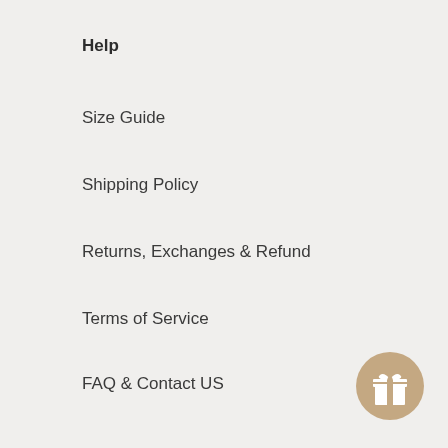Help
Size Guide
Shipping Policy
Returns, Exchanges & Refund
Terms of Service
FAQ & Contact US
Company
Our Story
[Figure (illustration): Circular gift/rewards icon button in tan/beige color with a white gift box symbol in the center, positioned in the bottom right corner]